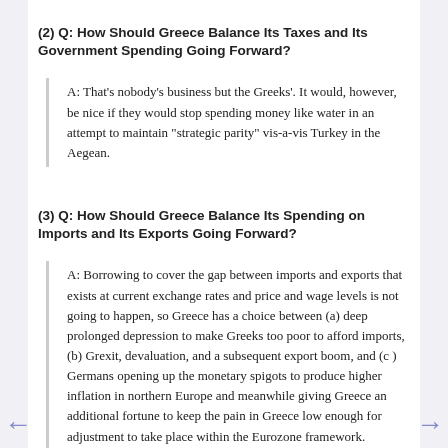(2) Q: How Should Greece Balance Its Taxes and Its Government Spending Going Forward?
A: That's nobody's business but the Greeks'. It would, however, be nice if they would stop spending money like water in an attempt to maintain "strategic parity" vis-a-vis Turkey in the Aegean.
(3) Q: How Should Greece Balance Its Spending on Imports and Its Exports Going Forward?
A: Borrowing to cover the gap between imports and exports that exists at current exchange rates and price and wage levels is not going to happen, so Greece has a choice between (a) deep prolonged depression to make Greeks too poor to afford imports, (b) Grexit, devaluation, and a subsequent export boom, and (c ) Germans opening up the monetary spigots to produce higher inflation in northern Europe and meanwhile giving Greece an additional fortune to keep the pain in Greece low enough for adjustment to take place within the Eurozone framework.